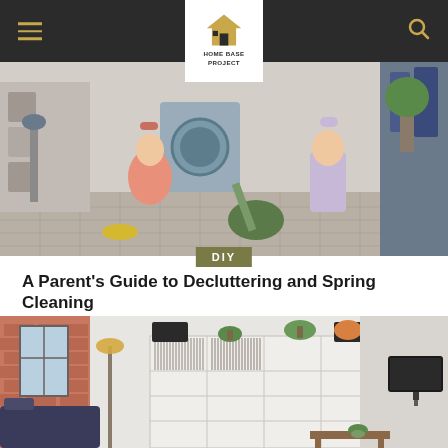HOME BASE PROJECT — navigation bar with hamburger menu and search icon
[Figure (photo): Two young girls in pajamas playing with a vacuum cleaner on a patterned floor in a messy laundry/storage room]
DIY
A Parent's Guide to Decluttering and Spring Cleaning
[Figure (photo): A modern living room with a large white bookshelf filled with records/books, a sofa, floor lamp, and wall-mounted TV]